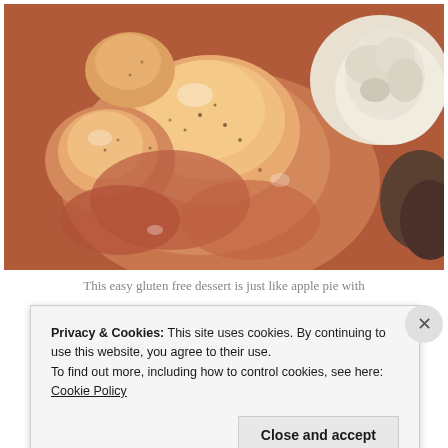[Figure (photo): Close-up photo of glazed cooked fruit (apples or peaches) with a reddish-brown syrup and white foam/cream in the upper right corner, appearing to be a baked fruit dessert filling.]
This easy gluten free dessert is just like apple pie with
Privacy & Cookies: This site uses cookies. By continuing to use this website, you agree to their use.
To find out more, including how to control cookies, see here: Cookie Policy
Close and accept